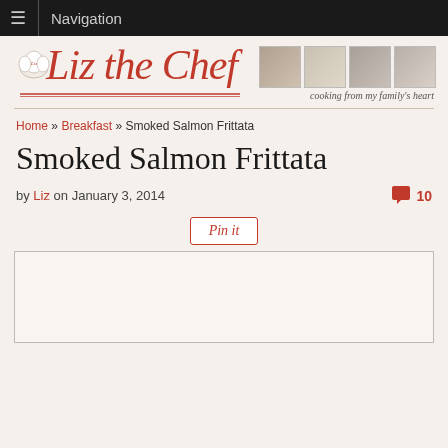≡ Navigation
[Figure (logo): Liz the Chef logo with cursive red text, chef hat, vintage photos, and tagline 'cooking from my family's heart']
Home » Breakfast » Smoked Salmon Frittata
Smoked Salmon Frittata
by Liz on January 3, 2014  💬 10
[Figure (other): Pin it button]
[Figure (photo): Image placeholder / recipe photo area]